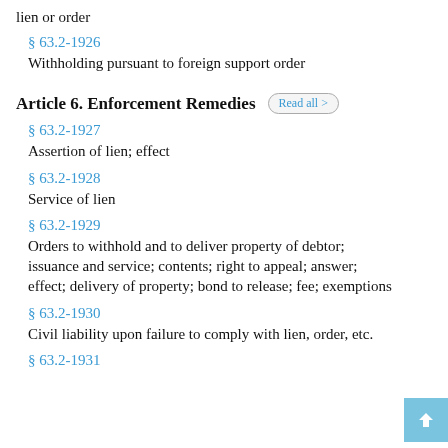lien or order
§ 63.2-1926
Withholding pursuant to foreign support order
Article 6. Enforcement Remedies
§ 63.2-1927
Assertion of lien; effect
§ 63.2-1928
Service of lien
§ 63.2-1929
Orders to withhold and to deliver property of debtor; issuance and service; contents; right to appeal; answer; effect; delivery of property; bond to release; fee; exemptions
§ 63.2-1930
Civil liability upon failure to comply with lien, order, etc.
§ 63.2-1931